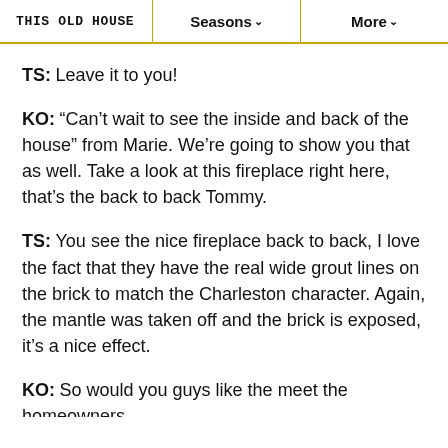THIS OLD HOUSE  |  Seasons ∨  |  More ∨
TS: Leave it to you!
KO: “Can’t wait to see the inside and back of the house” from Marie. We’re going to show you that as well. Take a look at this fireplace right here, that’s the back to back Tommy.
TS: You see the nice fireplace back to back, I love the fact that they have the real wide grout lines on the brick to match the Charleston character. Again, the mantle was taken off and the brick is exposed, it’s a nice effect.
KO: So would you guys like the meet the homeowners and...